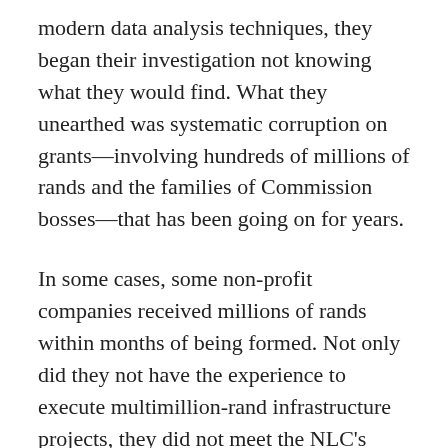modern data analysis techniques, they began their investigation not knowing what they would find. What they unearthed was systematic corruption on grants—involving hundreds of millions of rands and the families of Commission bosses—that has been going on for years.
In some cases, some non-profit companies received millions of rands within months of being formed. Not only did they not have the experience to execute multimillion-rand infrastructure projects, they did not meet the NLC's requirement of a minimum of two years of financial reporting to be eligible for funding.
Joseph's reporting has led to calls for the NLC to be put under administration and its Board to be fired. Its Chief Operating Officer is currently on a leave of